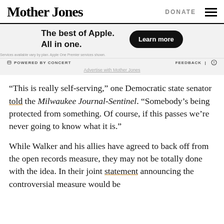Mother Jones | DONATE
[Figure (other): Apple advertisement banner: 'The best of Apple. All in one.' with a 'Learn more' button. Footer shows 'POWERED BY CONCERT' and 'FEEDBACK' with a link to 'Advertise with Mother Jones'.]
“This is really self-serving,” one Democratic state senator told the Milwaukee Journal-Sentinel. “Somebody’s being protected from something. Of course, if this passes we’re never going to know what it is.”
While Walker and his allies have agreed to back off from the open records measure, they may not be totally done with the idea. In their joint statement announcing the controversial measure would be